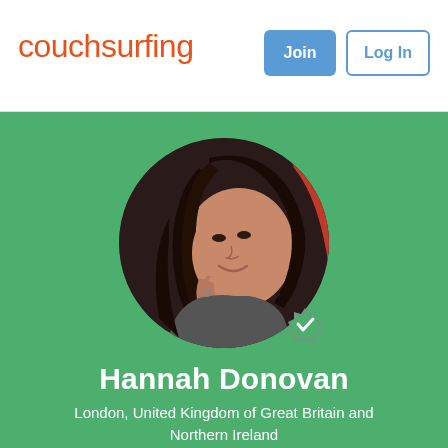[Figure (logo): Couchsurfing logo in orange handwritten-style font]
Join
Log In
[Figure (photo): Circular profile photo of Hannah Donovan, a woman with dark hair resting her chin on her hand, smiling, with a red background. A green verified checkmark badge appears at the bottom right of the circle.]
Hannah Donovan
London, United Kingdom of Great Britain and Northern Ireland